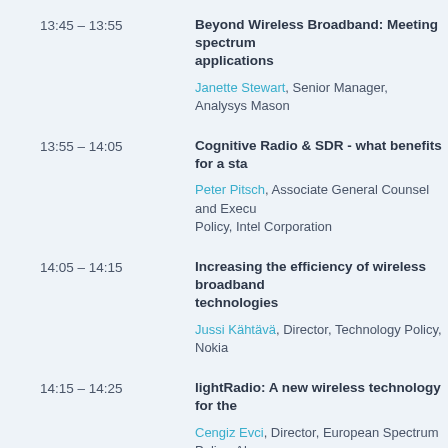13:45 – 13:55 | Beyond Wireless Broadband: Meeting spectrum applications | Janette Stewart, Senior Manager, Analysys Mason
13:55 – 14:05 | Cognitive Radio & SDR - what benefits for a sta... | Peter Pitsch, Associate General Counsel and Execu... Policy, Intel Corporation
14:05 – 14:15 | Increasing the efficiency of wireless broadban... technologies | Jussi Kähtävä, Director, Technology Policy, Nokia
14:15 – 14:25 | lightRadio: A new wireless technology for the ... | Cengiz Evci, Director, European Spectrum Policy, Al...
14:25 – 14:35 | How Satellite becomes Hybrid | Cécil Ameil, Senior Manager European Affairs, SES
14:35 – 14:45 | A commercial perspective - meeting consum...